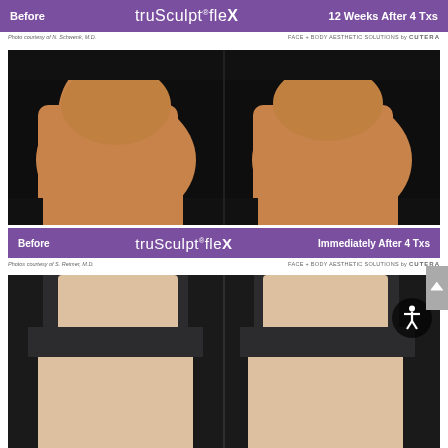Before   truSculpt fleX   12 Weeks After 4 Txs
Photo courtesy of N. Schwenk, M.D.    FACE + BODY AESTHETIC SOLUTIONS by CUTERA
[Figure (photo): Side-by-side before and 12 weeks after 4 treatments clinical photo showing buttocks/thigh area improvement with truSculpt fleX treatment]
Before   truSculpt fleX   Immediately After 4 Txs
Photos courtesy of S. Reimer, M.D.    FACE + BODY AESTHETIC SOLUTIONS by CUTERA
[Figure (photo): Side-by-side before and immediately after 4 treatments clinical photo showing buttocks/thigh area with truSculpt fleX treatment]